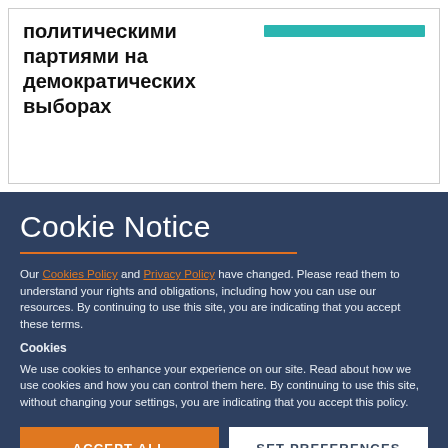политическими партиями на демократических выборах
Cookie Notice
Our Cookies Policy and Privacy Policy have changed. Please read them to understand your rights and obligations, including how you can use our resources. By continuing to use this site, you are indicating that you accept these terms.
Cookies
We use cookies to enhance your experience on our site. Read about how we use cookies and how you can control them here. By continuing to use this site, without changing your settings, you are indicating that you accept this policy.
ACCEPT ALL COOKIES
SET PREFERENCES